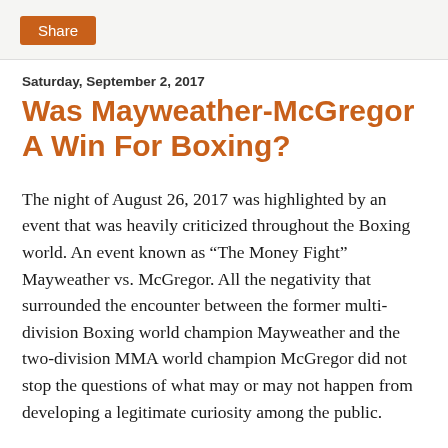Share
Saturday, September 2, 2017
Was Mayweather-McGregor A Win For Boxing?
The night of August 26, 2017 was highlighted by an event that was heavily criticized throughout the Boxing world. An event known as “The Money Fight” Mayweather vs. McGregor. All the negativity that surrounded the encounter between the former multi-division Boxing world champion Mayweather and the two-division MMA world champion McGregor did not stop the questions of what may or may not happen from developing a legitimate curiosity among the public.
Curiosity that not only attracted the interests of fans and